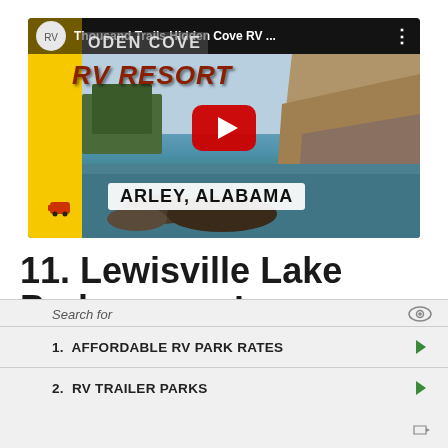[Figure (screenshot): YouTube video thumbnail showing Thousand Trails Hidden Cove RV Resort in Arley, Alabama. Features a lake scene with rocky cliffs, trees, yellow left bar with RV resort branding, red play button overlay, and text overlays including 'HIDDEN COVE RV RESORT' and 'ARLEY, ALABAMA'.]
11. Lewisville Lake Park Campground
Search for
1.  AFFORDABLE RV PARK RATES
2.  RV TRAILER PARKS